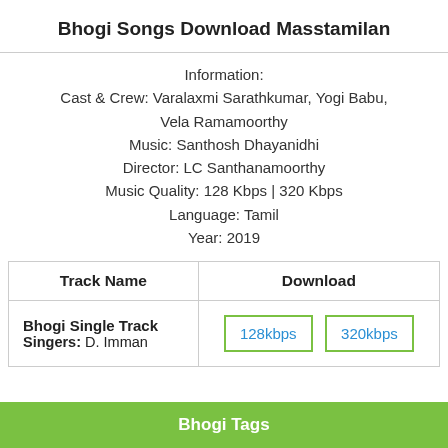Bhogi Songs Download Masstamilan
Information:
Cast & Crew: Varalaxmi Sarathkumar, Yogi Babu, Vela Ramamoorthy
Music: Santhosh Dhayanidhi
Director: LC Santhanamoorthy
Music Quality: 128 Kbps | 320 Kbps
Language: Tamil
Year: 2019
| Track Name | Download |
| --- | --- |
| Bhogi Single Track
Singers: D. Imman | 128kbps | 320kbps |
Bhogi Tags